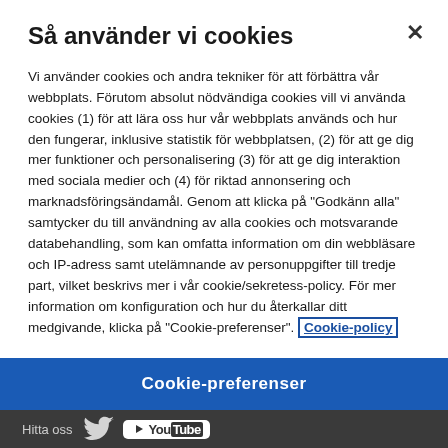Så använder vi cookies
Vi använder cookies och andra tekniker för att förbättra vår webbplats. Förutom absolut nödvändiga cookies vill vi använda cookies (1) för att lära oss hur vår webbplats används och hur den fungerar, inklusive statistik för webbplatsen, (2) för att ge dig mer funktioner och personalisering (3) för att ge dig interaktion med sociala medier och (4) för riktad annonsering och marknadsföringsändamål. Genom att klicka på "Godkänn alla" samtycker du till användning av alla cookies och motsvarande databehandling, som kan omfatta information om din webbläsare och IP-adress samt utelämnande av personuppgifter till tredje part, vilket beskrivs mer i vår cookie/sekretess-policy. För mer information om konfiguration och hur du återkallar ditt medgivande, klicka på "Cookie-preferenser". Cookie-policy
Cookie-preferenser
Hitta oss